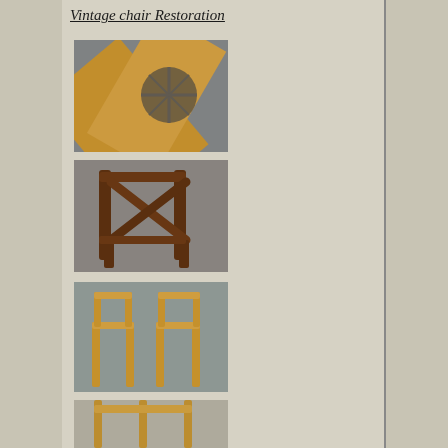Vintage chair Restoration
[Figure (photo): Close-up photo of vintage chair wooden frame components, natural wood color, on grey floor]
[Figure (photo): Photo of dark-stained vintage chair frame without upholstery, showing crossed back rails, on grey floor]
[Figure (photo): Photo of two light wood chair frames side by side without upholstery, on grey/blue floor]
[Figure (photo): Partially visible photo of a chair restoration, showing legs and seat frame]